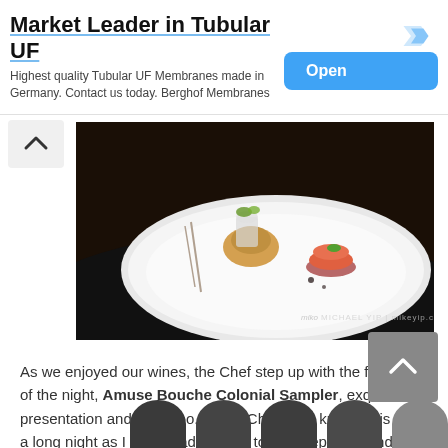[Figure (other): Advertisement banner: 'Market Leader in Tubular UF' with subtitle 'Highest quality Tubular UF Membranes made in Germany. Contact us today. Berghof Membranes' and a blue 'Open' button]
[Figure (photo): Fine dining plate with elegant food presentation — a white plate with small appetizers including a glass cup with food garnish and a small salmon/tomato stack, with silverware. Watermark: 'MICHAEL YIP | mikeyip.com']
As we enjoyed our wines, the Chef step up with the first dish of the night, Amuse Bouche Colonial Sampler, exquisite presentation and fresh too. I think Chef Zaidi knew he is in for a long night as I kept heading over to the Prep table and watch him work instead of remaining at my seat and wait for the food to be served.